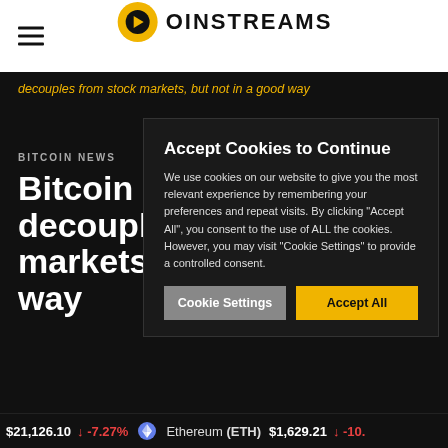COINSTREAMS logo and navigation
decouples from stock markets, but not in a good way
BITCOIN NEWS
Bitcoin p... decoupl... markets... way
Accept Cookies to Continue
We use cookies on our website to give you the most relevant experience by remembering your preferences and repeat visits. By clicking "Accept All", you consent to the use of ALL the cookies. However, you may visit "Cookie Settings" to provide a controlled consent.
$21,126.10 ↓ -7.27%   Ethereum (ETH) $1,629.21 ↓ -10.